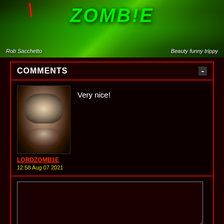[Figure (illustration): Green psychedelic zombie-themed banner with text 'Rob Sacchetto' on the left and 'Beauty funny trippy' on the right, red sword graphic, green graffiti-style zombie lettering in center]
COMMENTS
Very nice!
LORDZOMB1E
12:58 Aug 07 2021